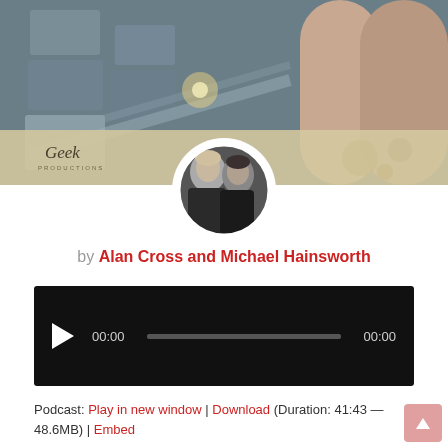[Figure (photo): Hero banner with industrial/mechanical background image (large cylindrical structures, stone blocks), overlaid with a beige/tan band at the bottom containing the Geek logo in italics. A circular avatar photo of two men (black and white portrait, Alan Cross and Michael Hainsworth) overlaps the bottom of the banner.]
by Alan Cross and Michael Hainsworth
[Figure (screenshot): An embedded audio player with black background, play button (triangle), time display showing 00:00, a grey progress bar, and end time 00:00]
Podcast: Play in new window | Download (Duration: 41:43 — 48.6MB) | Embed